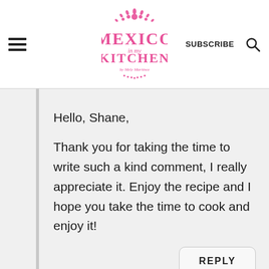Mexico in my Kitchen | SUBSCRIBE
Hello, Shane,
Thank you for taking the time to write such a kind comment, I really appreciate it. Enjoy the recipe and I hope you take the time to cook and enjoy it!
REPLY